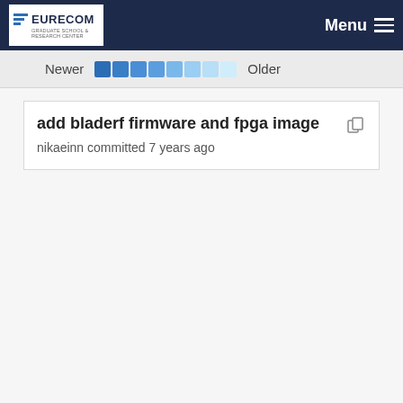[Figure (logo): EURECOM logo in white box on dark navy navigation bar]
Menu
Newer  Older
add bladerf firmware and fpga image
nikaeinn committed 7 years ago